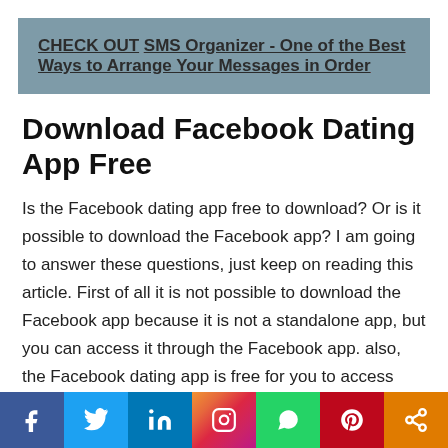CHECK OUT   SMS Organizer - One of the Best Ways to Arrange Your Messages in Order
Download Facebook Dating App Free
Is the Facebook dating app free to download? Or is it possible to download the Facebook app? I am going to answer these questions, just keep on reading this article. First of all it is not possible to download the Facebook app because it is not a standalone app, but you can access it through the Facebook app. also, the Facebook dating app is free for you to access and make use of it
[Figure (infographic): Social media share bar with buttons for Facebook, Twitter, LinkedIn, Instagram, WhatsApp, Pinterest, and Share]